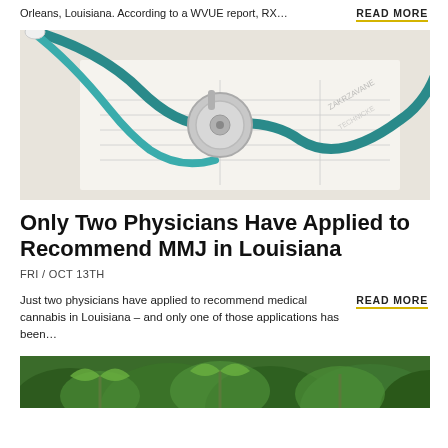Orleans, Louisiana. According to a WVUE report, RX…
READ MORE
[Figure (photo): Close-up photo of a teal stethoscope resting on medical paperwork/forms]
Only Two Physicians Have Applied to Recommend MMJ in Louisiana
FRI / OCT 13TH
Just two physicians have applied to recommend medical cannabis in Louisiana – and only one of those applications has been…
READ MORE
[Figure (photo): Photo of green cannabis plants]